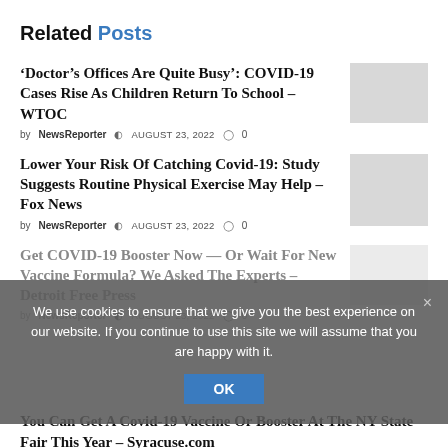Related Posts
‘Doctor’s Offices Are Quite Busy’: COVID-19 Cases Rise As Children Return To School – WTOC
by NewsReporter  AUGUST 23, 2022  0
Lower Your Risk Of Catching Covid-19: Study Suggests Routine Physical Exercise May Help – Fox News
by NewsReporter  AUGUST 23, 2022  0
Get COVID-19 Booster Now — Or Wait For New Vaccine Formula? We Asked The Experts – Detroit Free Press
by NewsReporter  AUGUST 23, 2022  0
You Can Get A Covid-19 Vaccine Or Booster At The NY State Fair This Year – Syracuse.com
We use cookies to ensure that we give you the best experience on our website. If you continue to use this site we will assume that you are happy with it.
OK